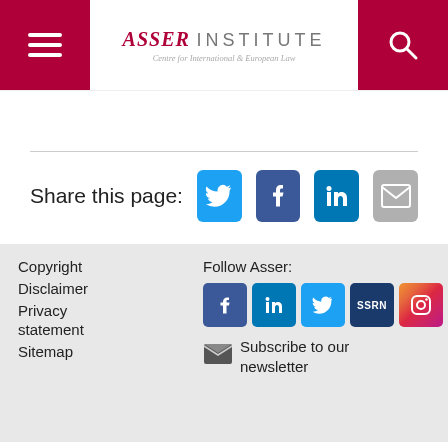Asser Institute — Centre for International & European Law
Share this page:
Copyright
Disclaimer
Privacy statement
Sitemap
Follow Asser:
Subscribe to our newsletter